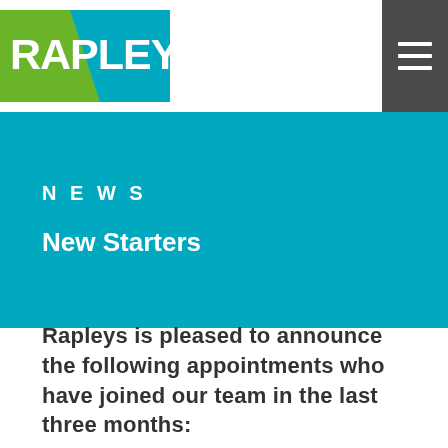[Figure (logo): Rapleys logo with green and teal background]
NEWS
New Starters
Rapleys is pleased to announce the following appointments who have joined our team in the last three months: